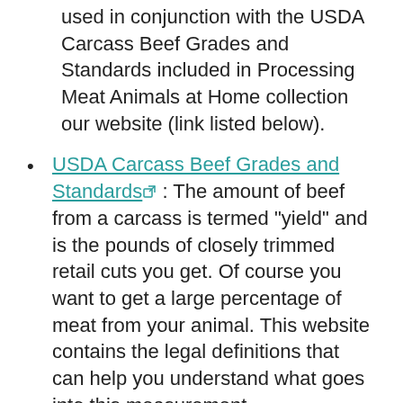used in conjunction with the USDA Carcass Beef Grades and Standards included in Processing Meat Animals at Home collection our website (link listed below).
USDA Carcass Beef Grades and Standards : The amount of beef from a carcass is termed "yield" and is the pounds of closely trimmed retail cuts you get. Of course you want to get a large percentage of meat from your animal. This website contains the legal definitions that can help you understand what goes into this measurement.
Take home beef : This is a brochure